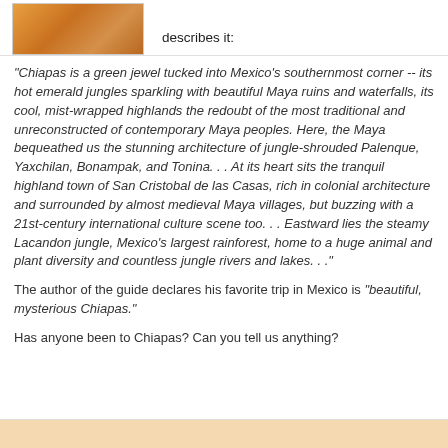[Figure (photo): Partial view of an image, appears to show orange/warm colored content, cropped at top]
describes it:
"Chiapas is a green jewel tucked into Mexico's southernmost corner -- its hot emerald jungles sparkling with beautiful Maya ruins and waterfalls, its cool, mist-wrapped highlands the redoubt of the most traditional and unreconstructed of contemporary Maya peoples. Here, the Maya bequeathed us the stunning architecture of jungle-shrouded Palenque, Yaxchilan, Bonampak, and Tonina. . . At its heart sits the tranquil highland town of San Cristobal de las Casas, rich in colonial architecture and surrounded by almost medieval Maya villages, but buzzing with a 21st-century international culture scene too. . . Eastward lies the steamy Lacandon jungle, Mexico's largest rainforest, home to a huge animal and plant diversity and countless jungle rivers and lakes. . ."
The author of the guide declares his favorite trip in Mexico is "beautiful, mysterious Chiapas."
Has anyone been to Chiapas? Can you tell us anything?